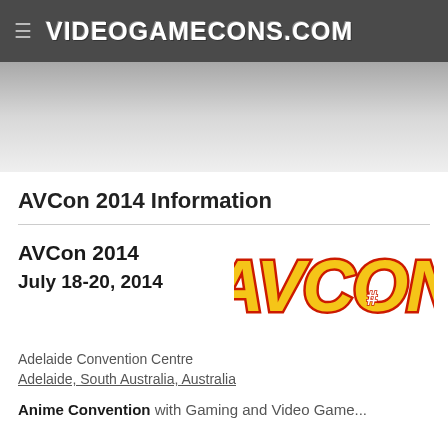VideoGameCons.com
[Figure (other): Grey gradient banner area]
AVCon 2014 Information
AVCon 2014
July 18-20, 2014
[Figure (logo): AVCon logo in yellow and red stylized text]
Adelaide Convention Centre
Adelaide, South Australia, Australia
Anime Convention with Gaming and Video Game...